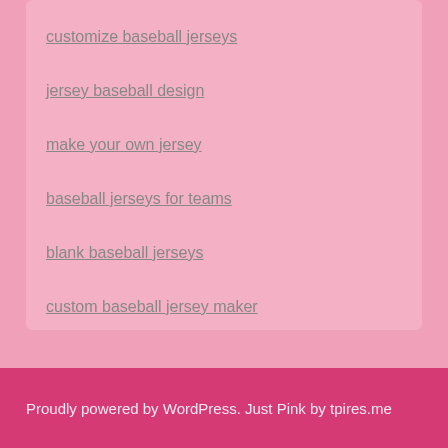customize baseball jerseys
jersey baseball design
make your own jersey
baseball jerseys for teams
blank baseball jerseys
custom baseball jersey maker
Proudly powered by WordPress. Just Pink by tpires.me